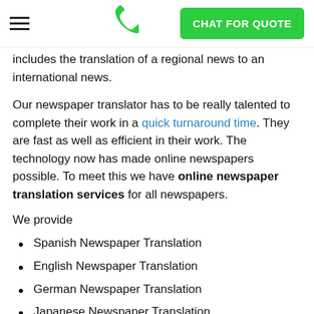CHAT FOR QUOTE
includes the translation of a regional news to an international news.
Our newspaper translator has to be really talented to complete their work in a quick turnaround time. They are fast as well as efficient in their work. The technology now has made online newspapers possible. To meet this we have online newspaper translation services for all newspapers.
We provide
Spanish Newspaper Translation
English Newspaper Translation
German Newspaper Translation
Japanese Newspaper Translation
French Newspaper Translation
Chinese Newspaper Translation